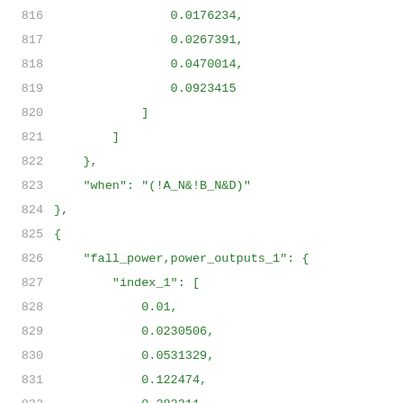816    0.0176234,
817    0.0267391,
818    0.0470014,
819    0.0923415
820    ]
821    ]
822    },
823    "when": "(!A_N&!B_N&D)"
824    },
825    {
826    "fall_power,power_outputs_1": {
827    "index_1": [
828    0.01,
829    0.0230506,
830    0.0531329,
831    0.122474,
832    0.282311,
833    0.650743,
834    1.5
835    ],
836    "index_2": [
837    0.0005...